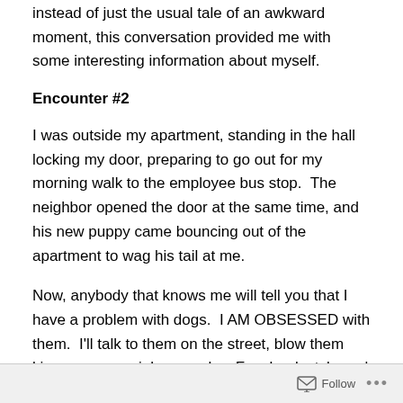instead of just the usual tale of an awkward moment, this conversation provided me with some interesting information about myself.
Encounter #2
I was outside my apartment, standing in the hall locking my door, preparing to go out for my morning walk to the employee bus stop.  The neighbor opened the door at the same time, and his new puppy came bouncing out of the apartment to wag his tail at me.
Now, anybody that knows me will tell you that I have a problem with dogs.  I AM OBSESSED with them.  I'll talk to them on the street, blow them kisses, wave, wink, squeal … Facebook style real life actions.
I also rarely acknowledge the human if there happens to
Follow